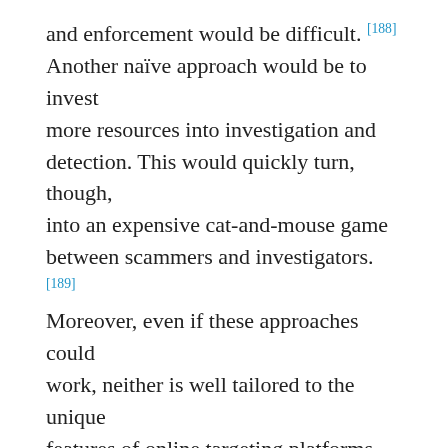and enforcement would be difficult. [188] Another naïve approach would be to invest more resources into investigation and detection. This would quickly turn, though, into an expensive cat-and-mouse game between scammers and investigators. [189] Moreover, even if these approaches could work, neither is well tailored to the unique features of online targeting platforms.
A promising approach could instead be to use targeting to fight the downsides of targeting: using the same tools that enable targeted scams to detect and prevent them. The same targeting technologies that make it possible to identify the most promising